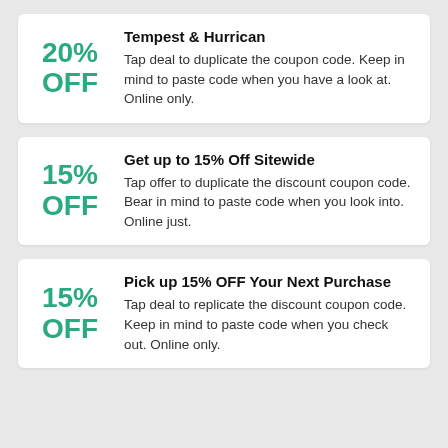20% OFF
Tempest & Hurrican
Tap deal to duplicate the coupon code. Keep in mind to paste code when you have a look at. Online only.
15% OFF
Get up to 15% Off Sitewide
Tap offer to duplicate the discount coupon code. Bear in mind to paste code when you look into. Online just.
15% OFF
Pick up 15% OFF Your Next Purchase
Tap deal to replicate the discount coupon code. Keep in mind to paste code when you check out. Online only.